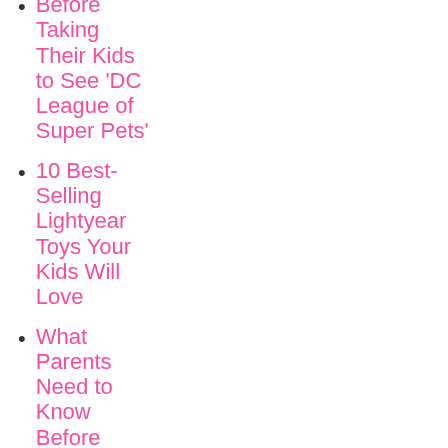Before Taking Their Kids to See ‘DC League of Super Pets’
10 Best-Selling Lightyear Toys Your Kids Will Love
What Parents Need to Know Before Taking Their Kids to See Thor Love and Thunder